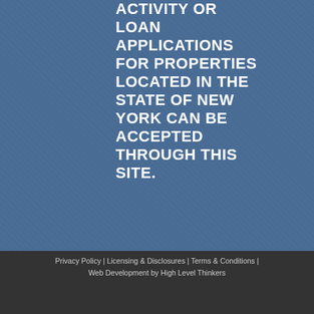ACTIVITY OR LOAN APPLICATIONS FOR PROPERTIES LOCATED IN THE STATE OF NEW YORK CAN BE ACCEPTED THROUGH THIS SITE.
Privacy Policy | Licensing & Disclosures | Terms & Conditions | Web Development by High Level Thinkers